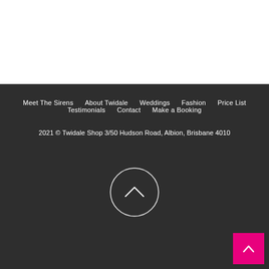Meet The Sirens   About Twidale   Weddings   Fashion   Price List   Testimonials   Contact   Make a Booking   2021 © Twidale Shop 3/50 Hudson Road, Albion, Brisbane 4010
[Figure (illustration): Circular back-to-top button with upward chevron arrow, hand-drawn style white circle outline on dark background]
[Figure (illustration): Pink square back-to-top button with white upward chevron arrow, positioned bottom right corner]